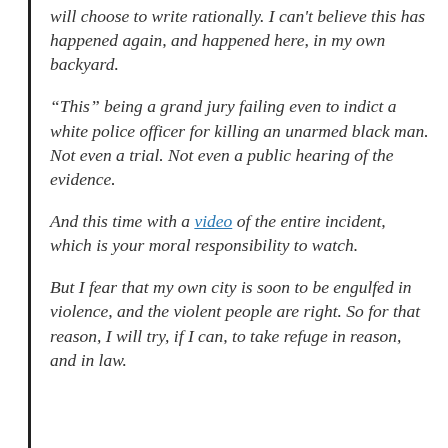will choose to write rationally. I can't believe this has happened again, and happened here, in my own backyard.
“This” being a grand jury failing even to indict a white police officer for killing an unarmed black man. Not even a trial. Not even a public hearing of the evidence.
And this time with a video of the entire incident, which is your moral responsibility to watch.
But I fear that my own city is soon to be engulfed in violence, and the violent people are right. So for that reason, I will try, if I can, to take refuge in reason, and in law.